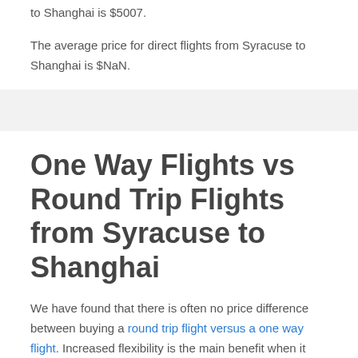to Shanghai is $5007.
The average price for direct flights from Syracuse to Shanghai is $NaN.
One Way Flights vs Round Trip Flights from Syracuse to Shanghai
We have found that there is often no price difference between buying a round trip flight versus a one way flight. Increased flexibility is the main benefit when it